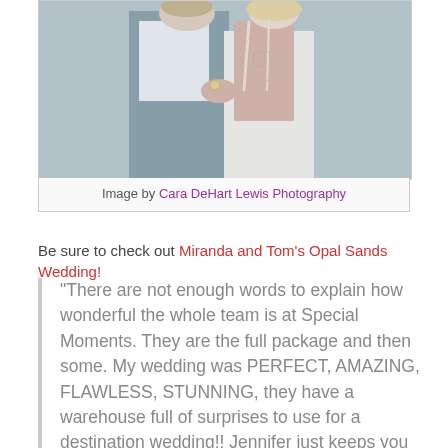[Figure (photo): Wedding photo showing a couple from behind, bride in white backless dress with floral tattoo, groom in grey suit]
Image by Cara DeHart Lewis Photography
Be sure to check out Miranda and Tom's Opal Sands Wedding!
“There are not enough words to explain how wonderful the whole team is at Special Moments. They are the full package and then some. My wedding was PERFECT, AMAZING, FLAWLESS, STUNNING, they have a warehouse full of surprises to use for a destination wedding!! Jennifer just keeps you calm and lets you enjoy your day with absolutely no worries or cares in the world. I picked the perfect group and all the referrals were OUTSTANDING....I had the dream team, everyone was so Awesome!!